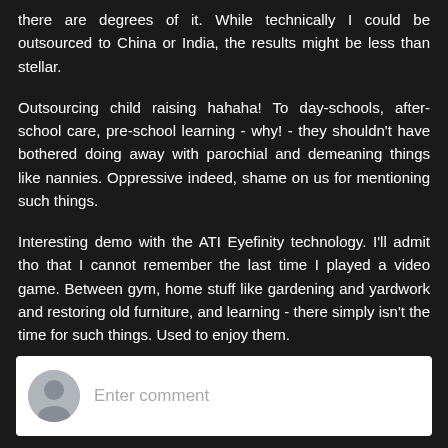there are degrees of it. While technically I could be outsourced to China or India, the results might be less than stellar.
Outsourcing child raising hahaha! To day-schools, after-school care, pre-school learning - why! - they shouldn't have bothered doing away with parochial and demeaning things like nannies. Oppressive indeed, shame on us for mentioning such things.
Interesting demo with the ATI Eyefinity technology. I'll admit tho that I cannot remember the last time I played a video game. Between gym, home stuff like gardening and yardwork and restoring old furniture, and learning - there simply isn't the time for such things. Used to enjoy them.
Reply